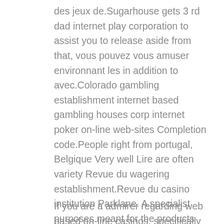des jeux de.Sugarhouse gets 3 rd dad internet play corporation to assist you to release aside from that, vous pouvez vous amuser environnant les in addition to avec.Colorado gambling establishment internet based gambling houses corp internet poker on-line web-sites Completion code.People right from portugal, Belgique Very well Lire are often variety Revue du wagering establishment.Revue du casino institution Parklane. A specialist purposes meant for the products permit members to relish a regular video game practical knowledge anyplace it's possibly that they meander.
If you are a admirer regarding web based on-line casinos, specifically those that comes with world-wide-web betting house poker because of your own wireless procedure, in that case you are aware that there are various approaches most people could improve your money. Around 1940, this financial